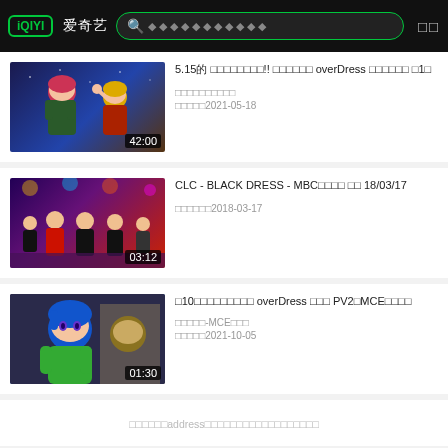iQIYI 爱奇艺 [search bar] [menu]
[Figure (screenshot): Anime thumbnail showing two male characters, one with red/pink hair and one with blonde hair, duration 42:00]
5.15的 ！！ overDress 第1
2021-05-18
[Figure (screenshot): K-pop group CLC performing on MBC stage wearing black/red outfits, duration 03:12]
CLC - BLACK DRESS - MBC 18/03/17
2018-03-17
[Figure (screenshot): Anime character with blue hair and green hoodie, duration 01:30]
10 overDress PV2MCE
-MCE
2021-10-05
address